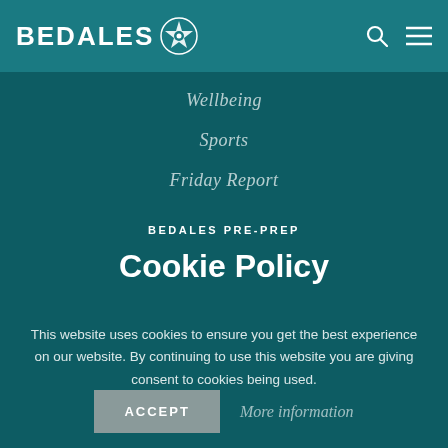BEDALES
Wellbeing
Sports
Friday Report
BEDALES PRE-PREP
Cookie Policy
This website uses cookies to ensure you get the best experience on our website. By continuing to use this website you are giving consent to cookies being used.
ACCEPT   More information